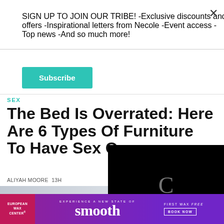SIGN UP TO JOIN OUR TRIBE! -Exclusive discounts and offers -Inspirational letters from Necole -Event access -Top news -And so much more!
Subscribe
SEX
The Bed Is Overrated: Here Are 6 Types Of Furniture To Have Sex On
ALIYAH MOORE  13H
[Figure (photo): Person photo partially visible under black video overlay]
[Figure (screenshot): Black video player loading screen with spinning indicator]
[Figure (illustration): European Wax Center advertisement banner reading 'Experience a New State of smooth - First Wax free - Book Now']